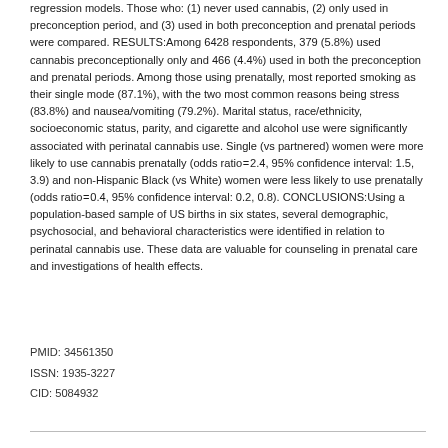regression models. Those who: (1) never used cannabis, (2) only used in preconception period, and (3) used in both preconception and prenatal periods were compared. RESULTS:Among 6428 respondents, 379 (5.8%) used cannabis preconceptionally only and 466 (4.4%) used in both the preconception and prenatal periods. Among those using prenatally, most reported smoking as their single mode (87.1%), with the two most common reasons being stress (83.8%) and nausea/vomiting (79.2%). Marital status, race/ethnicity, socioeconomic status, parity, and cigarette and alcohol use were significantly associated with perinatal cannabis use. Single (vs partnered) women were more likely to use cannabis prenatally (odds ratioâ€Š=â€Š2.4, 95% confidence interval: 1.5, 3.9) and non-Hispanic Black (vs White) women were less likely to use prenatally (odds ratioâ€Š=â€Š0.4, 95% confidence interval: 0.2, 0.8). CONCLUSIONS:Using a population-based sample of US births in six states, several demographic, psychosocial, and behavioral characteristics were identified in relation to perinatal cannabis use. These data are valuable for counseling in prenatal care and investigations of health effects.
PMID: 34561350
ISSN: 1935-3227
CID: 5084932